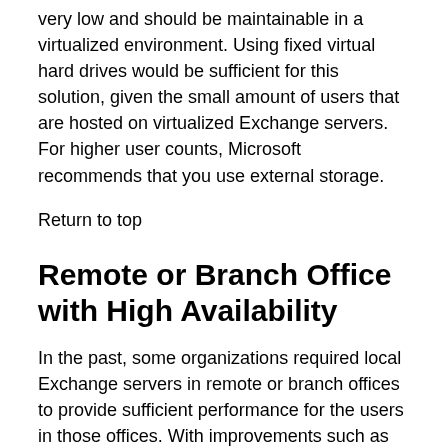very low and should be maintainable in a virtualized environment. Using fixed virtual hard drives would be sufficient for this solution, given the small amount of users that are hosted on virtualized Exchange servers. For higher user counts, Microsoft recommends that you use external storage.
Return to top
Remote or Branch Office with High Availability
In the past, some organizations required local Exchange servers in remote or branch offices to provide sufficient performance for the users in those offices. With improvements such as Cached Exchange Mode and Outlook Anywhere, consolidating those servers to a central datacenter became the recommended approach.